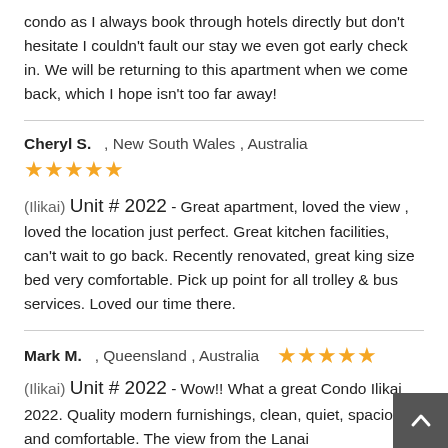condo as I always book through hotels directly but don't hesitate I couldn't fault our stay we even got early check in. We will be returning to this apartment when we come back, which I hope isn't too far away!
Cheryl S.   , New South Wales , Australia
★★★★★
(Ilikai) Unit # 2022 - Great apartment, loved the view , loved the location just perfect. Great kitchen facilities, can't wait to go back. Recently renovated, great king size bed very comfortable. Pick up point for all trolley & bus services. Loved our time there.
Mark M.   , Queensland , Australia  ★★★★★
(Ilikai) Unit # 2022 - Wow!! What a great Condo Ilikai 2022. Quality modern furnishings, clean, quiet, spacious and comfortable. The view from the Lanai